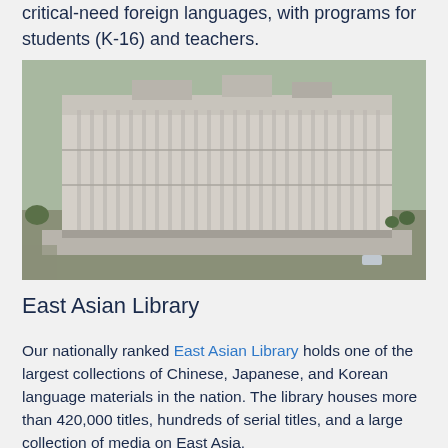critical-need foreign languages, with programs for students (K-16) and teachers.
[Figure (photo): Aerial/overhead view of a large multi-story modernist library building, light-colored concrete facade with vertical fin details, surrounded by parking lots and trees.]
East Asian Library
Our nationally ranked East Asian Library holds one of the largest collections of Chinese, Japanese, and Korean language materials in the nation. The library houses more than 420,000 titles, hundreds of serial titles, and a large collection of media on East Asia.